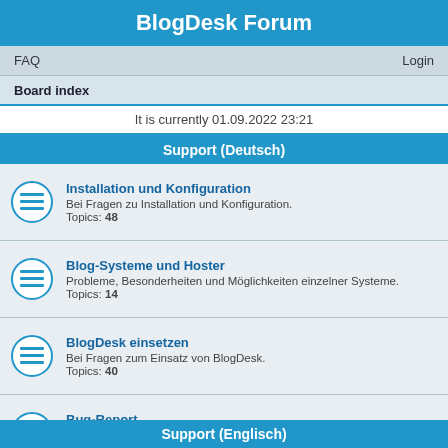BlogDesk Forum
FAQ    Login
Board index
It is currently 01.09.2022 23:21
Support (Deutsch)
Installation und Konfiguration
Bei Fragen zu Installation und Konfiguration.
Topics: 48
Blog-Systeme und Hoster
Probleme, Besonderheiten und Möglichkeiten einzelner Systeme.
Topics: 14
BlogDesk einsetzen
Bei Fragen zum Einsatz von BlogDesk.
Topics: 40
Bug-Report
Zum Melden von Bugs.
Topics: 59
Wünsche und Anregungen
Das Forum für Feature-Requests.
Topics: 92
Support (Englisch)